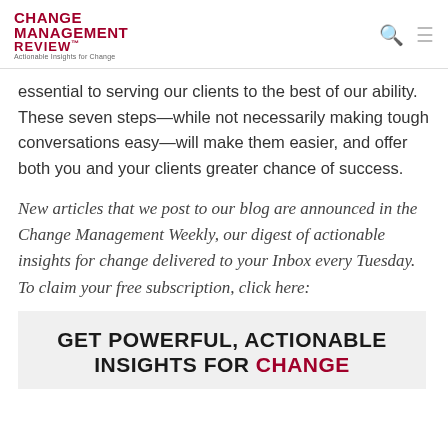CHANGE MANAGEMENT REVIEW™ Actionable Insights for Change
essential to serving our clients to the best of our ability. These seven steps—while not necessarily making tough conversations easy—will make them easier, and offer both you and your clients greater chance of success.
New articles that we post to our blog are announced in the Change Management Weekly, our digest of actionable insights for change delivered to your Inbox every Tuesday. To claim your free subscription, click here:
GET POWERFUL, ACTIONABLE INSIGHTS FOR CHANGE